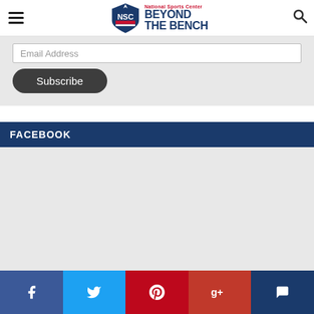National Sports Center Beyond The Bench
Email Address
Subscribe
FACEBOOK
[Figure (other): Grey empty Facebook widget area]
[Figure (infographic): Bottom social sharing bar with Facebook, Twitter, Pinterest, Google+, and Comment icons]